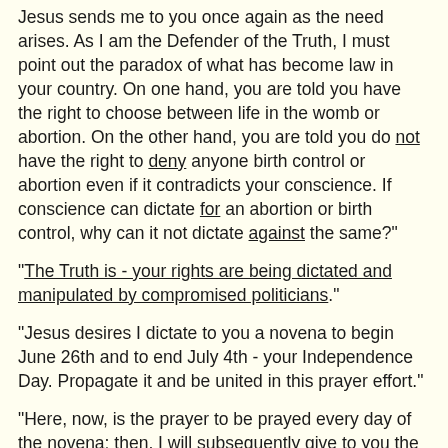Jesus sends me to you once again as the need arises. As I am the Defender of the Truth, I must point out the paradox of what has become law in your country. On one hand, you are told you have the right to choose between life in the womb or abortion. On the other hand, you are told you do not have the right to deny anyone birth control or abortion even if it contradicts your conscience. If conscience can dictate for an abortion or birth control, why can it not dictate against the same?"
"The Truth is - your rights are being dictated and manipulated by compromised politicians."
"Jesus desires I dictate to you a novena to begin June 26th and to end July 4th - your Independence Day. Propagate it and be united in this prayer effort."
"Here, now, is the prayer to be prayed every day of the novena; then, I will subsequently give to you the daily prayers on my future visits."
Prayer of the 9-day Novena for the United States of America and the Following Daily Petitions: